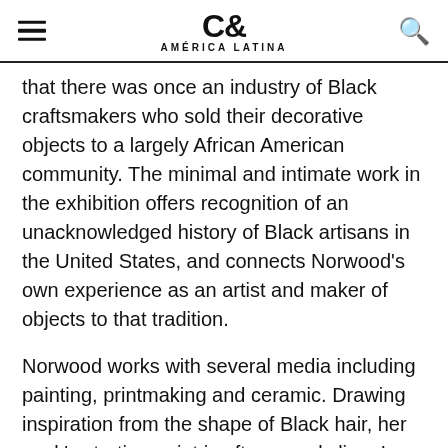C& AMÉRICA LATINA
that there was once an industry of Black craftsmakers who sold their decorative objects to a largely African American community. The minimal and intimate work in the exhibition offers recognition of an unacknowledged history of Black artisans in the United States, and connects Norwood's own experience as an artist and maker of objects to that tradition.
Norwood works with several media including painting, printmaking and ceramic. Drawing inspiration from the shape of Black hair, her work's starting point is often a curly line. In her abstract prints and paintings, she intertwines organic lines to act as gestural markings; in her ceramic sculptures and installations,